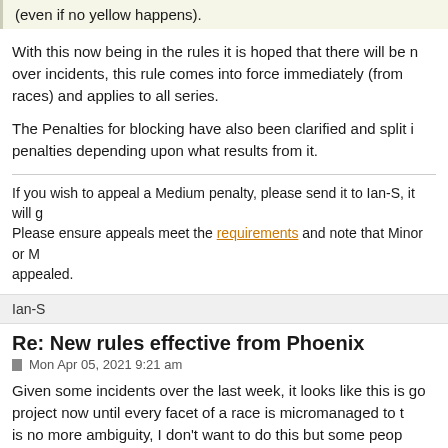(even if no yellow happens).
With this now being in the rules it is hoped that there will be no more disagreement over incidents, this rule comes into force immediately (from the upcoming Phoenix races) and applies to all series.
The Penalties for blocking have also been clarified and split into different penalties depending upon what results from it.
If you wish to appeal a Medium penalty, please send it to Ian-S, it will go to the stewards. Please ensure appeals meet the requirements and note that Minor or Major cannot be appealed.
Ian-S
Re: New rules effective from Phoenix
Mon Apr 05, 2021 9:21 am
Given some incidents over the last week, it looks like this is going to be a long project now until every facet of a race is micromanaged to the extent that there is no more ambiguity, I don't want to do this but some people force my hand, respectfully, it will also make the reviewers job easier since th